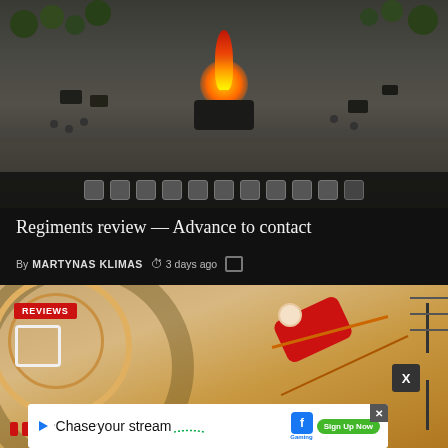[Figure (screenshot): Top-down RTS game screenshot showing military units, burning vehicle with fire/explosion effect, and UI bar at bottom with unit icons]
Regiments review — Advance to contact
By MARTYNAS KLIMAS  3 days ago
[Figure (screenshot): 3D game screenshot showing a red character/unit on a circular track/arena with REVIEWS badge overlay and advertisement banner for Facebook Gaming Chase your stream]
REVIEWS
Chase your stream  Sign Up Now